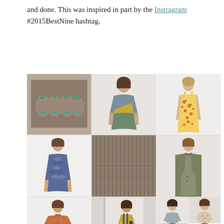and done. This was inspired in part by the Instragram #2015BestNine hashtag.
[Figure (photo): A 3x3 grid of Instagram photos showing handmade sewing projects: stuffed animals, colorblock t-shirt, floral dress, patterned knit dress, close-up of herringbone fabric, olive wrap jacket, orange floral blouse, blue dungaree dress with yellow top, and gray/floral tops with an apron.]